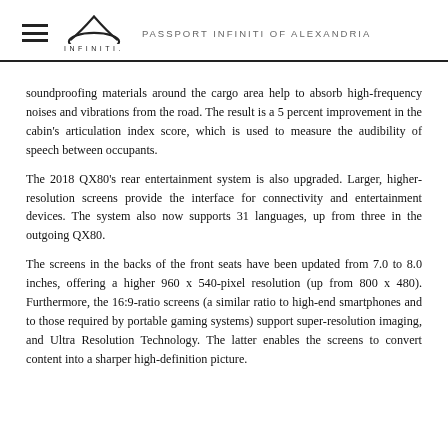PASSPORT INFINITI OF ALEXANDRIA
soundproofing materials around the cargo area help to absorb high-frequency noises and vibrations from the road. The result is a 5 percent improvement in the cabin's articulation index score, which is used to measure the audibility of speech between occupants.
The 2018 QX80's rear entertainment system is also upgraded. Larger, higher-resolution screens provide the interface for connectivity and entertainment devices. The system also now supports 31 languages, up from three in the outgoing QX80.
The screens in the backs of the front seats have been updated from 7.0 to 8.0 inches, offering a higher 960 x 540-pixel resolution (up from 800 x 480). Furthermore, the 16:9-ratio screens (a similar ratio to high-end smartphones and to those required by portable gaming systems) support super-resolution imaging, and Ultra Resolution Technology. The latter enables the screens to convert content into a sharper high-definition picture.